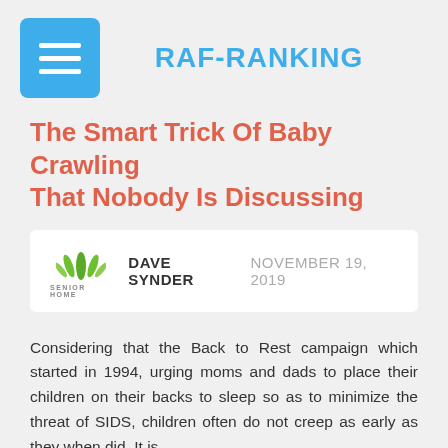[Figure (logo): Blue rounded square menu/hamburger button icon]
RAF-RANKING
The Smart Trick Of Baby Crawling That Nobody Is Discussing
[Figure (logo): Senior Home green leaf logo with text SENIOR HOME]
DAVE SYNDER   NOVEMBER 19, 2019
Considering that the Back to Rest campaign which started in 1994, urging moms and dads to place their children on their backs to sleep so as to minimize the threat of SIDS, children often do not creep as early as they when did. It is